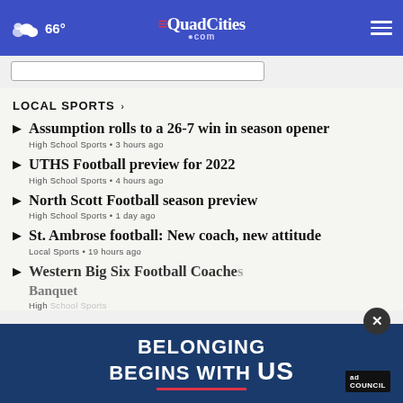66° | QuadCities.com
LOCAL SPORTS ›
Assumption rolls to a 26-7 win in season opener
High School Sports • 3 hours ago
UTHS Football preview for 2022
High School Sports • 4 hours ago
North Scott Football season preview
High School Sports • 1 day ago
St. Ambrose football: New coach, new attitude
Local Sports • 19 hours ago
Western Big Six Football Coaches Banquet
High School Sports
[Figure (screenshot): Ad overlay: 'Belonging Begins With US' ad council banner with close button]